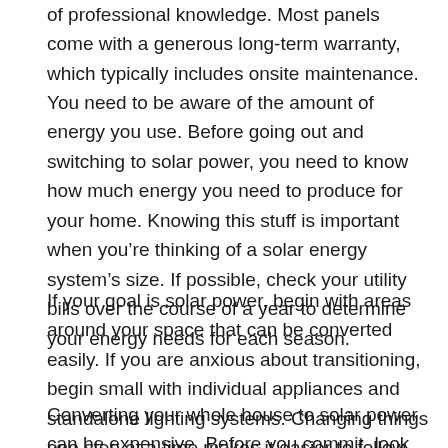of professional knowledge. Most panels come with a generous long-term warranty, which typically includes onsite maintenance.
You need to be aware of the amount of energy you use. Before going out and switching to solar power, you need to know how much energy you need to produce for your home. Knowing this stuff is important when you're thinking of a solar energy system's size. If possible, check your utility bills over the course of a year to determine your energy needs for each season.
If your goal is solar power, begin with areas around your space that can be converted easily. If you are anxious about transitioning, begin small with individual appliances and standalone lighting systems. Changing things one step at a time makes it easier to follow through with your plan.
Converting your whole house to solar power can be expensive. Before you commit, look at how much you can afford. The initial investment will be very large, but there will come a time when you